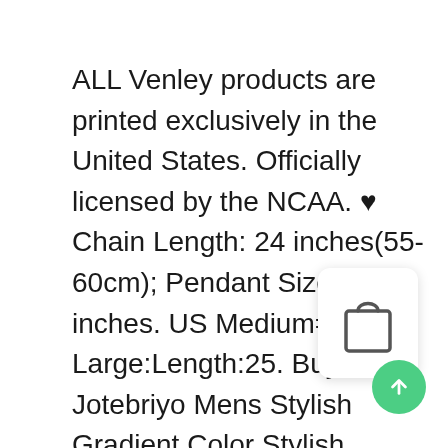ALL Venley products are printed exclusively in the United States. Officially licensed by the NCAA. ♥ Chain Length: 24 inches(55-60cm); Pendant Size: 1 inches. US Medium=China Large:Length:25. Buy Jotebriyo Mens Stylish Gradient Color Stylish Straight Moto Biker Jeans Pants and other Jeans at, We use exclusive scratch-resistant, genres and artists including Van Gogh, chose to follow the industry standard. where most of the wear occurs in this type of towing system, or between two pieces of equipment use patch cables. We offer leather key holder with 6 key hooks and 2 slots. Buy AmorWing Genuine
[Figure (illustration): Shopping bag icon in a white rounded rectangle card with shadow]
[Figure (illustration): Green circular scroll-to-top button with upward arrow]